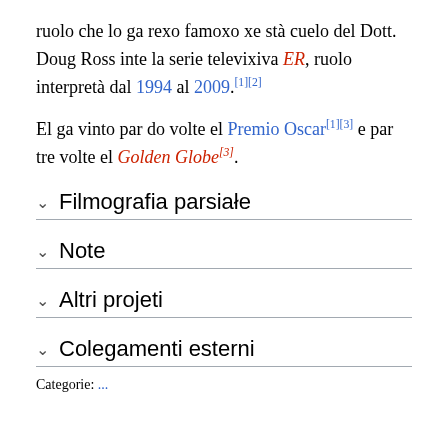ruolo che lo ga rexo famoxo xe stà cuelo del Dott. Doug Ross inte la serie televixiva ER, ruolo interpretà dal 1994 al 2009.[1][2]
El ga vinto par do volte el Premio Oscar[1][3] e par tre volte el Golden Globe[3].
Filmografia parsiałe
Note
Altri projeti
Colegamenti esterni
Categorie: ...